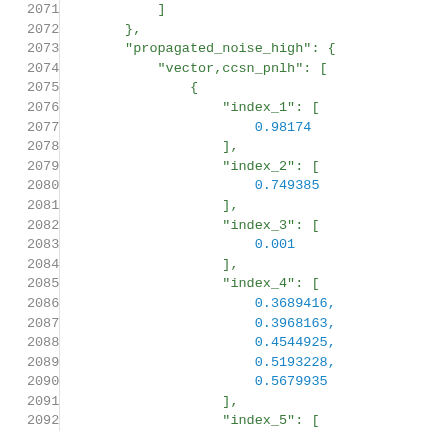Code listing lines 2071-2091 showing JSON structure with propagated_noise_high, vector,ccsn_pnlh, index_1 through index_4 with numeric values